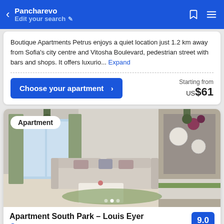Pancharevo — Edit your search
Boutique Apartments Petrus enjoys a quiet location just 1.2 km away from Sofia's city centre and Vitosha Boulevard, pedestrian street with bars and shops. It offers luxurio... Expand
Choose your apartment > — Starting from US$61
[Figure (photo): Interior photo of a modern apartment with beige sofas, white coffee table, green accents on curtains and table runner, large windows, and decorative wall art with cups and flowers. An 'Apartment' badge is shown in the top-left corner.]
Apartment South Park - Louis Eyer
Sofia — 9.0 — 19 reviews